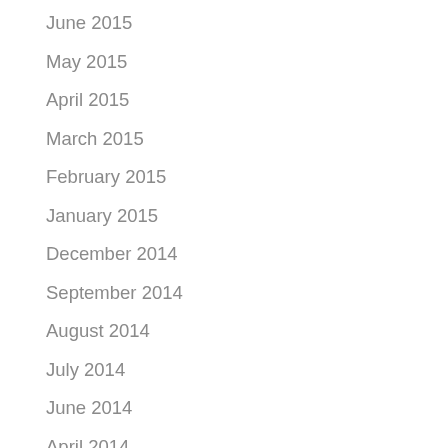June 2015
May 2015
April 2015
March 2015
February 2015
January 2015
December 2014
September 2014
August 2014
July 2014
June 2014
April 2014
March 2014
February 2014
January 2014